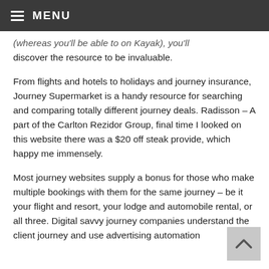≡ MENU
(whereas you'll be able to on Kayak), you'll discover the resource to be invaluable.
From flights and hotels to holidays and journey insurance, Journey Supermarket is a handy resource for searching and comparing totally different journey deals. Radisson – A part of the Carlton Rezidor Group, final time I looked on this website there was a $20 off steak provide, which happy me immensely.
Most journey websites supply a bonus for those who make multiple bookings with them for the same journey – be it your flight and resort, your lodge and automobile rental, or all three. Digital savvy journey companies understand the client journey and use advertising automation